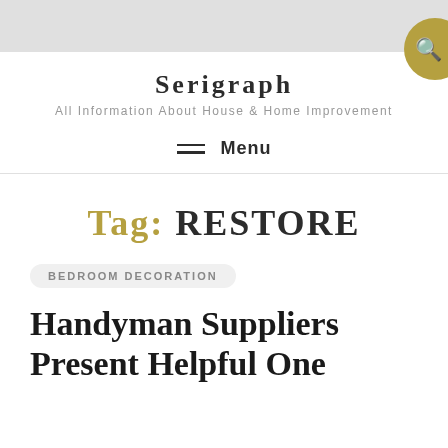Serigraph
All Information About House & Home Improvement
Menu
Tag: RESTORE
BEDROOM DECORATION
Handyman Suppliers Present Helpful One